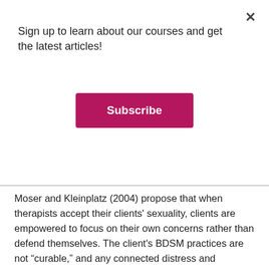Sign up to learn about our courses and get the latest articles!
Subscribe
Moser and Kleinplatz (2004) propose that when therapists accept their clients' sexuality, clients are empowered to focus on their own concerns rather than defend themselves. The client's BDSM practices are not “curable,” and any connected distress and dysfunction needs to be understood in the context of discrimination and stigma.
Creating safety in therapy allows clinicians to dispel harmful myths surrounding kink and